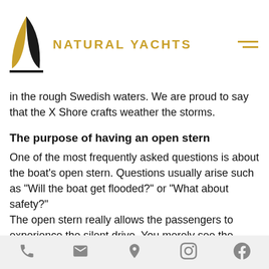NATURAL YACHTS
in the rough Swedish waters. We are proud to say that the X Shore crafts weather the storms.
The purpose of having an open stern
One of the most frequently asked questions is about the boat's open stern. Questions usually arise such as "Will the boat get flooded?" or "What about safety?"
The open stern really allows the passengers to experience the silent drive. You merely see the wakes from the propeller and it is an amazing experience. One of the reasons by
phone | email | location | instagram | facebook